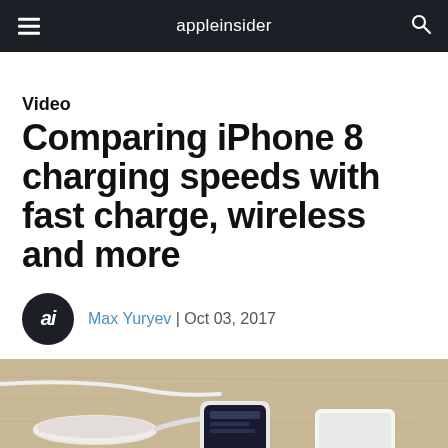appleinsider
Video
Comparing iPhone 8 charging speeds with fast charge, wireless and more
Max Yuryev | Oct 03, 2017
[Figure (photo): Photo of iPhone charging accessories on a wooden surface, including a wireless charging pad and cables]